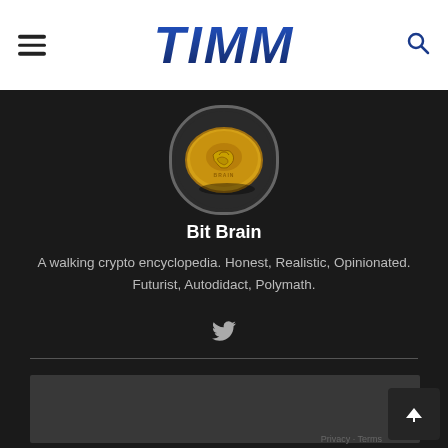TIMM
[Figure (photo): Circular profile avatar of Bit Brain — a gold coin with a brain engraving on a dark background]
Bit Brain
A walking crypto encyclopedia. Honest, Realistic, Opinionated. Futurist, Autodidact, Polymath.
[Figure (other): Twitter bird social media icon]
[Figure (screenshot): Bottom dark gray card / preview of next article section]